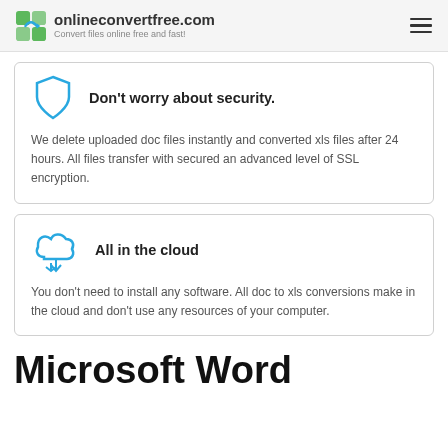onlineconvertfree.com — Convert files online free and fast!
Don't worry about security.
We delete uploaded doc files instantly and converted xls files after 24 hours. All files transfer with secured an advanced level of SSL encryption.
All in the cloud
You don't need to install any software. All doc to xls conversions make in the cloud and don't use any resources of your computer.
Microsoft Word